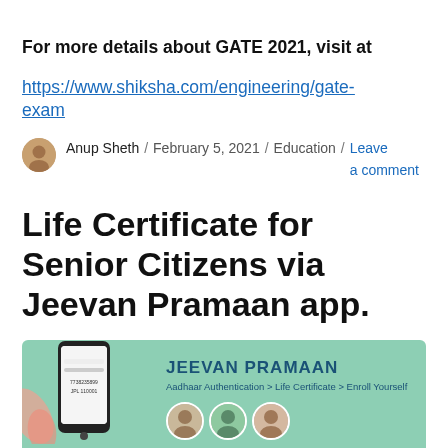For more details about GATE 2021, visit at https://www.shiksha.com/engineering/gate-exam
Anup Sheth / February 5, 2021 / Education / Leave a comment
Life Certificate for Senior Citizens via Jeevan Pramaan app.
[Figure (photo): Jeevan Pramaan app banner showing a phone with app interface, text 'JEEVAN PRAMAAN', 'Aadhaar Authentication > Life Certificate > Enroll Yourself', and circular profile photos of senior citizens on a green background.]